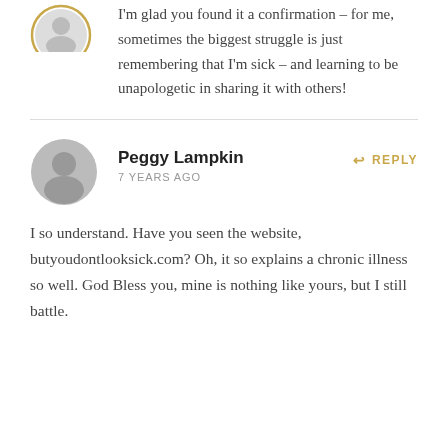[Figure (illustration): Partial avatar icon at top, gold and grey circular badge]
I'm glad you found it a confirmation – for me, sometimes the biggest struggle is just remembering that I'm sick – and learning to be unapologetic in sharing it with others!
Peggy Lampkin · 7 YEARS AGO · REPLY
I so understand. Have you seen the website, butyoudontlooksick.com? Oh, it so explains a chronic illness so well. God Bless you, mine is nothing like yours, but I still battle.